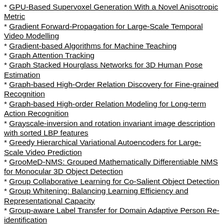* GPU-Based Supervoxel Generation With a Novel Anisotropic Metric
* Gradient Forward-Propagation for Large-Scale Temporal Video Modelling
* Gradient-based Algorithms for Machine Teaching
* Graph Attention Tracking
* Graph Stacked Hourglass Networks for 3D Human Pose Estimation
* Graph-based High-Order Relation Discovery for Fine-grained Recognition
* Graph-based High-order Relation Modeling for Long-term Action Recognition
* Grayscale-inversion and rotation invariant image description with sorted LBP features
* Greedy Hierarchical Variational Autoencoders for Large-Scale Video Prediction
* GrooMeD-NMS: Grouped Mathematically Differentiable NMS for Monocular 3D Object Detection
* Group Collaborative Learning for Co-Salient Object Detection
* Group Whitening: Balancing Learning Efficiency and Representational Capacity
* Group-aware Label Transfer for Domain Adaptive Person Re-identification
* Guest Editorial: Special Issue on Deep Learning for Video